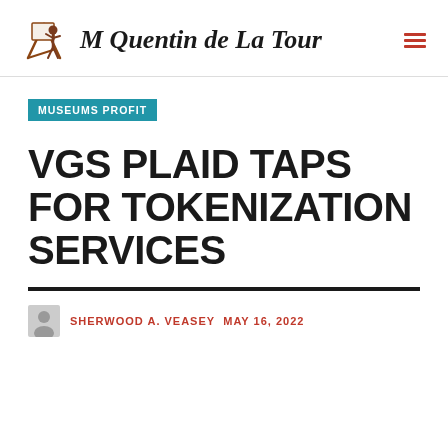M Quentin de La Tour
MUSEUMS PROFIT
VGS PLAID TAPS FOR TOKENIZATION SERVICES
SHERWOOD A. VEASEY  MAY 16, 2022